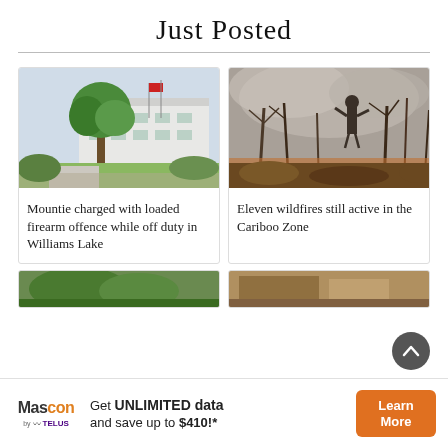Just Posted
[Figure (photo): Building with trees and flags in front, government or municipal building]
Mountie charged with loaded firearm offence while off duty in Williams Lake
[Figure (photo): Person fighting wildfire in smoky forest with burning brush]
Eleven wildfires still active in the Cariboo Zone
[Figure (photo): Green foliage, partial view]
[Figure (photo): Brown/tan structure, partial view]
Get UNLIMITED data and save up to $410!*